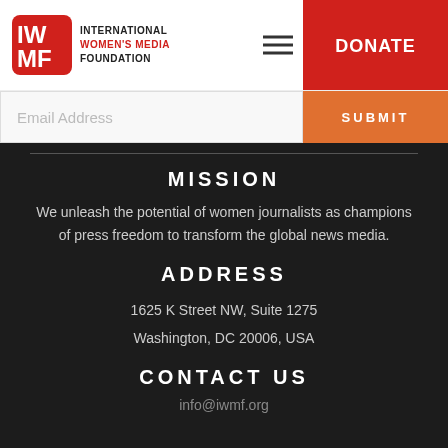INTERNATIONAL WOMEN'S MEDIA FOUNDATION | DONATE
Email Address | SUBMIT
MISSION
We unleash the potential of women journalists as champions of press freedom to transform the global news media.
ADDRESS
1625 K Street NW, Suite 1275
Washington, DC 20006, USA
CONTACT US
info@iwmf.org